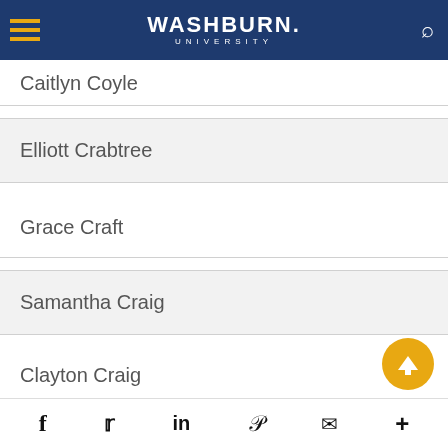Washburn University
Caitlyn Coyle
Elliott Crabtree
Grace Craft
Samantha Craig
Clayton Craig
Rhiannon Cracker
f  t  in  p  mail  +